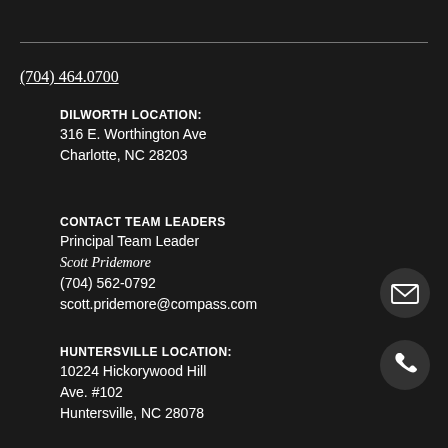(704) 464.0700
DILWORTH LOCATION:
316 E. Worthington Ave
Charlotte, NC 28203
CONTACT TEAM LEADERS
Principal Team Leader
Scott Pridemore
(704) 562-0792
scott.pridemore@compass.com
[Figure (illustration): Email icon - dark circle with white envelope]
[Figure (illustration): Phone icon - dark circle with white telephone handset]
HUNTERSVILLE LOCATION:
10224 Hickorywood Hill Ave. #102
Huntersville, NC 28078